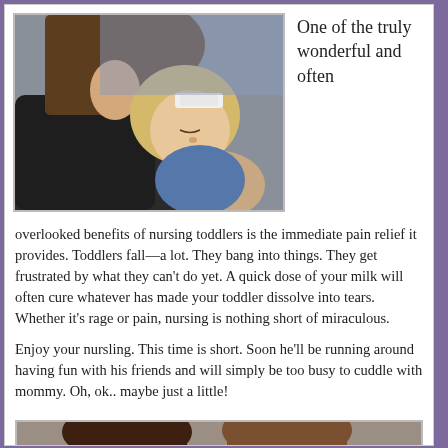[Figure (photo): A woman nursing a toddler with a bandage on their forehead, indoor setting, black and white/desaturated photo]
One of the truly wonderful and often
overlooked benefits of nursing toddlers is the immediate pain relief it provides. Toddlers fall—a lot. They bang into things. They get frustrated by what they can't do yet. A quick dose of your milk will often cure whatever has made your toddler dissolve into tears. Whether it's rage or pain, nursing is nothing short of miraculous.

Enjoy your nursling. This time is short. Soon he'll be running around having fun with his friends and will simply be too busy to cuddle with mommy. Oh, ok.. maybe just a little!
[Figure (photo): A woman with a child, close-up selfie style photo]